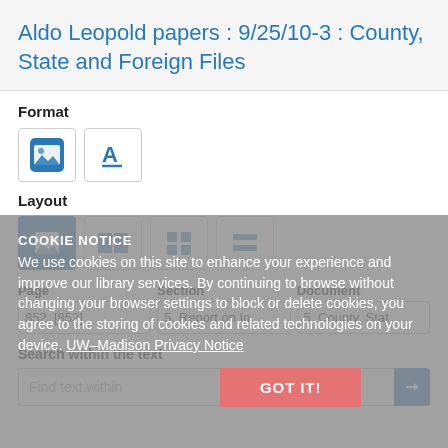Aldo Leopold papers : 9/25/10-3 : County, State and Foreign Files
Format
[Figure (screenshot): Format selection buttons: image icon (active) and text/A icon]
Layout
[Figure (screenshot): Layout selection buttons: four layout icons]
COOKIE NOTICE
We use cookies on this site to enhance your experience and improve our library services. By continuing to browse without changing your browser settings to block or delete cookies, you agree to the storing of cookies and related technologies on your device. UW–Madison Privacy Notice
GOT IT!
Page
Section
Document
852. [852]
5. Report on Io
5. County, Stat
Search within the text
Find text within